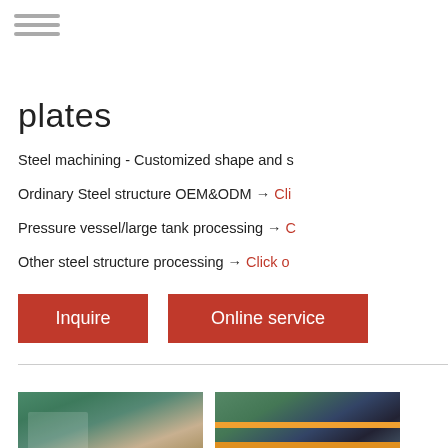[Figure (screenshot): Website screenshot showing a steel products company page with navigation, service descriptions, inquiry buttons, woman customer service photo, blue icon buttons for chat/phone/Skype, contact info, and factory photos at bottom]
plates
Steel machining - Customized shape and s
Ordinary Steel structure OEM&ODM → Cli
Pressure vessel/large tank processing → C
Other steel structure processing → Click o
Inquire
Online service
MANUAL SE
QUOTING O
Email: bsteel1@163.com